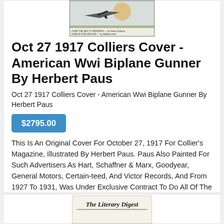[Figure (photo): Top portion of a Collier's magazine cover showing an orange/yellow circle shape, an airplane silhouette, and text at the bottom including 'OVER THE SEA TO PERSHING' and 'HAZE-IN-THE-GROUND']
Oct 27 1917 Colliers Cover - American Wwi Biplane Gunner By Herbert Paus
Oct 27 1917 Colliers Cover - American Wwi Biplane Gunner By Herbert Paus
$2795.00
This Is An Original Cover For October 27, 1917 For Collier's Magazine, Illustrated By Herbert Paus. Paus Also Painted For Such Advertisers As Hart, Schaffner & Marx, Goodyear, General Motors, Certain-teed, And Victor Records, And From 1927 To 1931, Was Under Exclusive Contract To Do All Of The Spectacular Covers For Popular Science Monthly.
[Figure (photo): Bottom portion showing the top of another magazine, appears to be 'The Literary Digest']